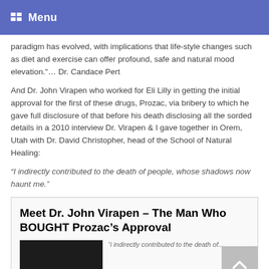Menu
paradigm has evolved, with implications that life-style changes such as diet and exercise can offer profound, safe and natural mood elevation."… Dr. Candace Pert
And Dr. John Virapen who worked for Eli Lilly in getting the initial approval for the first of these drugs, Prozac, via bribery to which he gave full disclosure of that before his death disclosing all the sorded details in a 2010 interview Dr. Virapen & I gave together in Orem, Utah with Dr. David Christopher, head of the School of Natural Healing:
“I indirectly contributed to the death of people, whose shadows now haunt me.”
Meet Dr. John Virapen – The Man Who BOUGHT Prozac’s Approval
“i indirectly contributed to the death of...